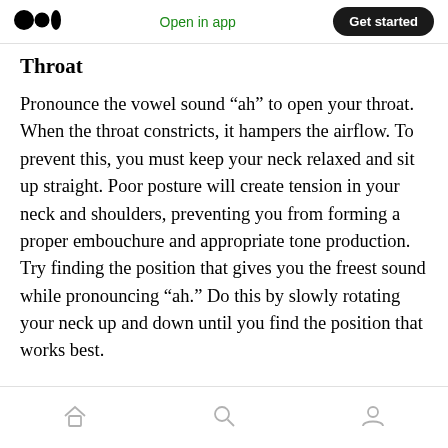Open in app | Get started
Throat
Pronounce the vowel sound “ah” to open your throat. When the throat constricts, it hampers the airflow. To prevent this, you must keep your neck relaxed and sit up straight. Poor posture will create tension in your neck and shoulders, preventing you from forming a proper embouchure and appropriate tone production. Try finding the position that gives you the freest sound while pronouncing “ah.” Do this by slowly rotating your neck up and down until you find the position that works best.
Home | Search | Profile